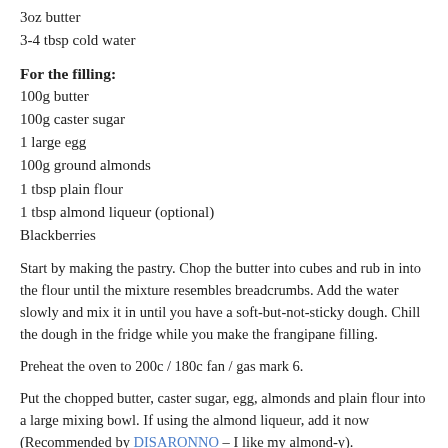3oz butter
3-4 tbsp cold water
For the filling:
100g butter
100g caster sugar
1 large egg
100g ground almonds
1 tbsp plain flour
1 tbsp almond liqueur (optional)
Blackberries
Start by making the pastry. Chop the butter into cubes and rub in into the flour until the mixture resembles breadcrumbs. Add the water slowly and mix it in until you have a soft-but-not-sticky dough. Chill the dough in the fridge while you make the frangipane filling.
Preheat the oven to 200c / 180c fan / gas mark 6.
Put the chopped butter, caster sugar, egg, almonds and plain flour into a large mixing bowl. If using the almond liqueur, add it now (Recommended by DISARONNO – I like my almond-y).